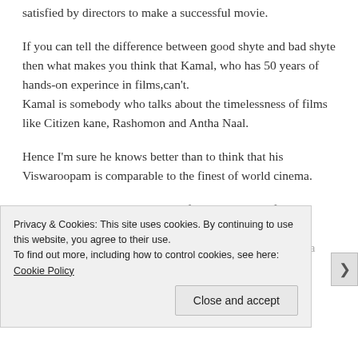satisfied by directors to make a successful movie.
If you can tell the difference between good shyte and bad shyte then what makes you think that Kamal, who has 50 years of hands-on experince in films,can't.
Kamal is somebody who talks about the timelessness of films like Citizen kane, Rashomon and Antha Naal.
Hence I'm sure he knows better than to think that his Viswaroopam is comparable to the finest of world cinema.
I see Viswaroopam as the labor of Kamal's years of experimenting and understanding of what works and not within the commercial format of Tamil films. This film is a triumph of
Privacy & Cookies: This site uses cookies. By continuing to use this website, you agree to their use.
To find out more, including how to control cookies, see here: Cookie Policy
Close and accept